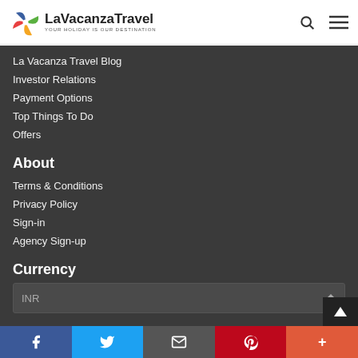[Figure (logo): LaVacanzaTravel logo with colorful pinwheel icon and tagline YOUR HOLIDAY IS OUR DESTINATION]
La Vacanza Travel Blog
Investor Relations
Payment Options
Top Things To Do
Offers
About
Terms & Conditions
Privacy Policy
Sign-in
Agency Sign-up
Currency
INR
Subscribe
[Figure (infographic): Social media share bar with Facebook, Twitter, Email, Pinterest, and plus buttons]